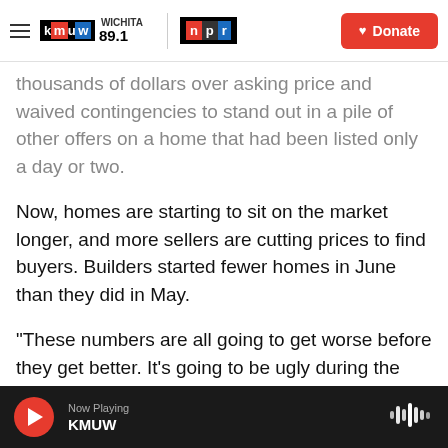[Figure (logo): KMUW Wichita 89.1 and NPR logos in navigation bar with hamburger menu and Donate button]
thousands of dollars over asking price and waived contingencies to stand out in a pile of other offers on a home that had been listed only a day or two.
Now, homes are starting to sit on the market longer, and more sellers are cutting prices to find buyers. Builders started fewer homes in June than they did in May.
"These numbers are all going to get worse before they get better. It's going to be ugly during the transition, but I think what we'll end up with is a market which is more healthy because it is not healthy to have a housing market where home
[Figure (other): Audio player bar at bottom: red play button, Now Playing label, KMUW station name, waveform icon on right]